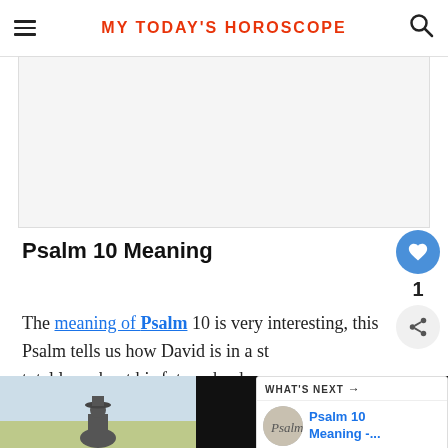MY TODAY'S HOROSCOPE
[Figure (other): Advertisement banner area, light gray background]
Psalm 10 Meaning
The meaning of Psalm 10 is very interesting, this Psalm tells us how David is in a state of total loss about his future, he does not see light to all his problems. At that moment, David
[Figure (screenshot): What's Next widget showing a thumbnail and link to Psalm 10 Meaning article]
[Figure (photo): Bottom image showing a ranger/person with hat against sky background, with dark overlay and logo]